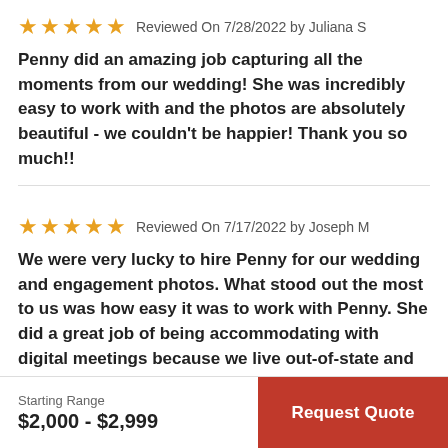★★★★★  Reviewed On 7/28/2022 by Juliana S
Penny did an amazing job capturing all the moments from our wedding! She was incredibly easy to work with and the photos are absolutely beautiful - we couldn't be happier! Thank you so much!!
★★★★★  Reviewed On 7/17/2022 by Joseph M
We were very lucky to hire Penny for our wedding and engagement photos. What stood out the most to us was how easy it was to work with Penny. She did a great job of being accommodating with digital meetings because we live out-of-state and even... Read More
Starting Range $2,000 - $2,999  |  Request Quote